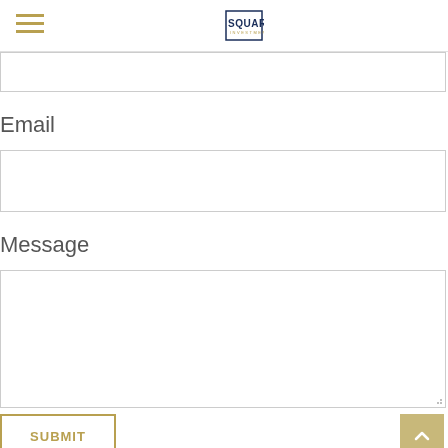Square72 Investments
Email
Message
SUBMIT